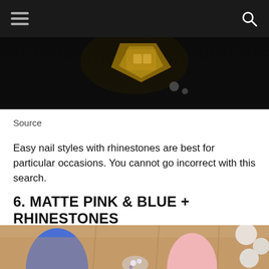[Figure (photo): Top portion of a dark photo showing nail art with gold rhinestones on dark background]
Source
Easy nail styles with rhinestones are best for particular occasions. You cannot go incorrect with this search.
6. MATTE PINK & BLUE + RHINESTONES
[Figure (photo): Close-up photo of a hand with matte blue and pink almond-shaped nails decorated with rhinestones, on a warm skin tone background]